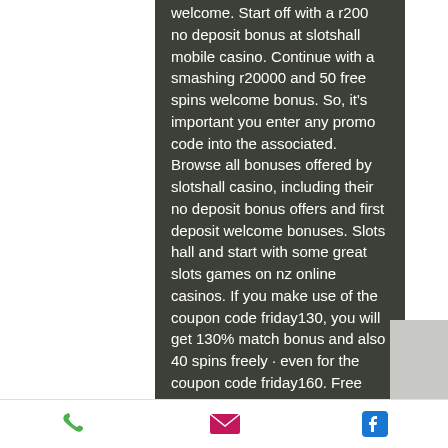welcome. Start off with a r200 no deposit bonus at slotshall mobile casino. Continue with a smashing r20000 and 50 free spins welcome bonus. So, it's important you enter any promo code into the associated. Browse all bonuses offered by slotshall casino, including their no deposit bonus offers and first deposit welcome bonuses. Slots hall and start with some great slots games on nz online casinos. If you make use of the coupon code friday130, you will get 130% match bonus and also 40 spins freely · even for the coupon code friday160. Free slot play for all mychoice rewards program guests. Hollywood casino at greektown will also make a $10,000 charitable contribution to The Best Classic Slots in 2021. On World Casino Expert, one can find various tried-and-true online casinos to choose from,
[phone icon] [email icon] [facebook icon]